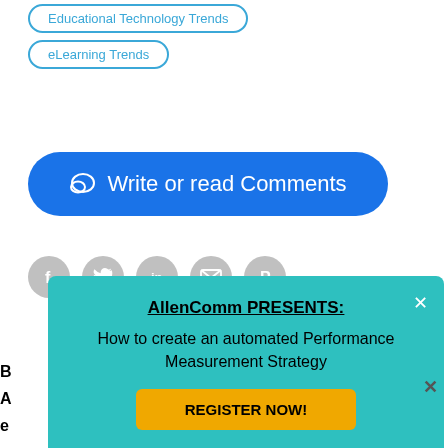Educational Technology Trends
eLearning Trends
Write or read Comments
[Figure (infographic): Social share icons: Facebook, Twitter, LinkedIn, Email, Pinterest]
[Figure (logo): eLearning Industry logo with orange trefoil icon and blue text]
AllenComm PRESENTS: How to create an automated Performance Measurement Strategy
REGISTER NOW!